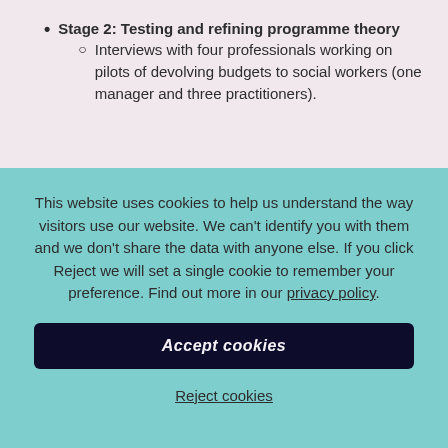Stage 2: Testing and refining programme theory
Interviews with four professionals working on pilots of devolving budgets to social workers (one manager and three practitioners).
This website uses cookies to help us understand the way visitors use our website. We can't identify you with them and we don't share the data with anyone else. If you click Reject we will set a single cookie to remember your preference. Find out more in our privacy policy.
Accept cookies
Reject cookies